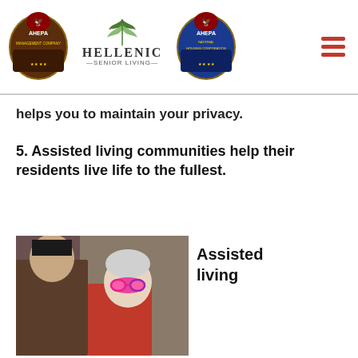[Figure (logo): AHEPA Management Company logo, Hellenic Senior Living logo, AHEPA National Housing Corporation logo, and hamburger menu icon]
helps you to maintain your privacy.
5. Assisted living communities help their residents live life to the fullest.
[Figure (photo): Two women, one appearing to get her face painted with a colorful mask design, smiling outdoors]
Assisted living